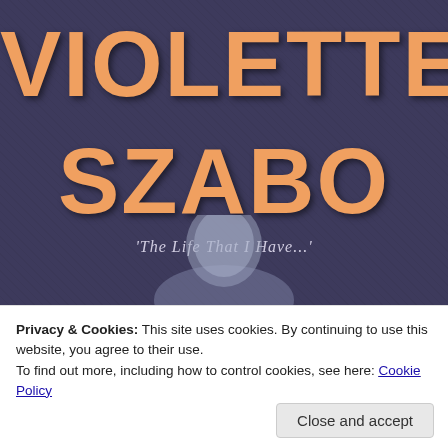[Figure (photo): Book cover of 'Violette Szabo: The Life That I Have...' with large orange/amber text on a dark purple-grey background, with a portrait silhouette visible at the bottom]
Privacy & Cookies: This site uses cookies. By continuing to use this website, you agree to their use.
To find out more, including how to control cookies, see here: Cookie Policy
Close and accept